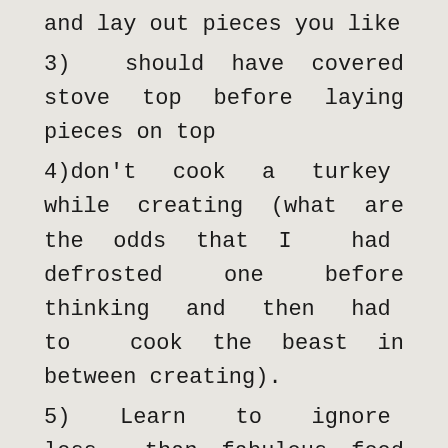and lay out pieces you like
3)  should have covered stove top before laying pieces on top
4)don't  cook  a  turkey  while creating (what are the odds that I  had  defrosted  one  before thinking  and  then  had  to  cook the beast in between creating).
5)  Learn  to  ignore  less  than fabulous feed back from family...